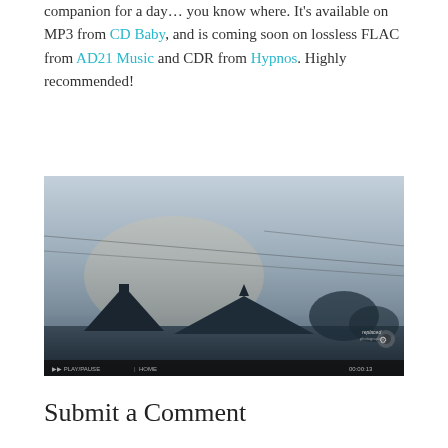companion for a day… you know where. It's available on MP3 from CD Baby, and is coming soon on lossless FLAC from AD21 Music and CDR from Hypnos. Highly recommended!
[Figure (photo): A foggy, atmospheric landscape photo showing silhouettes of rooftops and utility lines against a hazy grey-blue sky. A video player control bar is visible at the bottom of the image with a gear/settings icon in the lower right corner.]
Submit a Comment